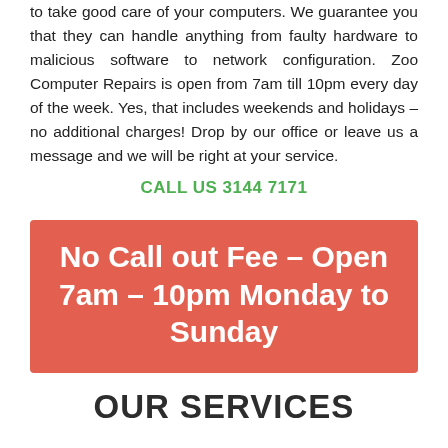to take good care of your computers. We guarantee you that they can handle anything from faulty hardware to malicious software to network configuration. Zoo Computer Repairs is open from 7am till 10pm every day of the week. Yes, that includes weekends and holidays – no additional charges! Drop by our office or leave us a message and we will be right at your service.
CALL US 3144 7171
No Call out Fee – Open 7am – 10pm Monday to Sunday
OUR SERVICES